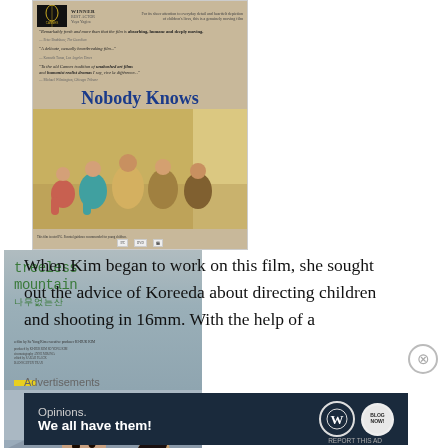[Figure (photo): Two movie posters side by side. Left: 'Nobody Knows' directed by Koreeda Hirokazu, showing children sitting together, with critical quotes and festival awards. Right: 'Treeless Mountain' (나무없는산) showing two young children against a misty mountain backdrop.]
When Kim began to work on this film, she sought out the advice of Koreeda about directing children and shooting in 16mm. With the help of a
Advertisements
[Figure (other): Advertisement banner with dark navy background. Text: 'Opinions. We all have them!' with WordPress and Blog Now logos on the right.]